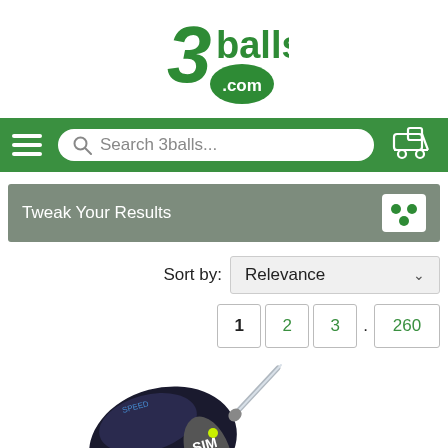[Figure (logo): 3balls.com logo in green stylized text]
[Figure (screenshot): Green navigation bar with hamburger menu, search box reading 'Search 3balls...', and golf cart icon]
Tweak Your Results
Sort by: Relevance
1  2  3  .  260
[Figure (photo): TaylorMade SIM driver golf club head, dark metallic, viewed from above at angle]